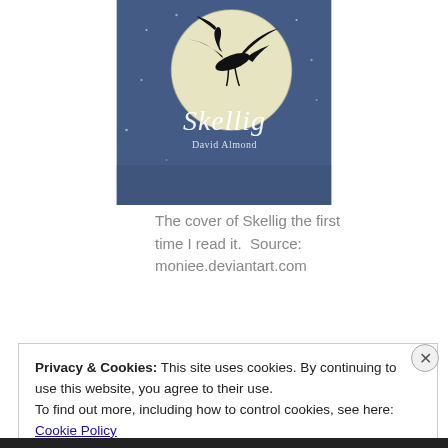[Figure (illustration): Book cover of 'Skellig' by David Almond — blue watercolor background with a large cream moon, a black bird (heron/crane) silhouette flying across the moon, and stylized white text reading 'Skellig' with author name 'David Almond' below.]
The cover of Skellig the first time I read it.  Source: moniee.deviantart.com
Privacy & Cookies: This site uses cookies. By continuing to use this website, you agree to their use.
To find out more, including how to control cookies, see here: Cookie Policy